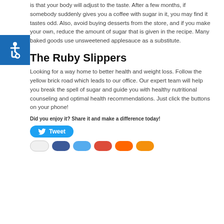is that your body will adjust to the taste.  After a few months, if somebody suddenly gives you a coffee with sugar in it, you may find it tastes odd.  Also, avoid buying desserts from the store, and if you make your own, reduce the amount of sugar that is given in the recipe. Many baked goods use unsweetened applesauce as a substitute.
The Ruby Slippers
Looking for a way home to better health and weight loss.  Follow the yellow brick road which leads to our office.  Our expert team will help you break the spell of sugar and guide you with healthy nutritional counseling and optimal health recommendations.  Just click the buttons on your phone!
Did you enjoy it? Share it and make a difference today!
[Figure (other): Tweet button (blue rounded rectangle with Twitter bird icon and 'Tweet' text)]
[Figure (other): Row of social share buttons: white, blue (Facebook), sky blue (Twitter), red (Google+), orange, amber]